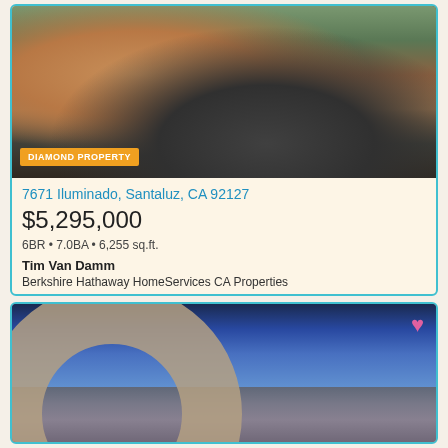[Figure (photo): Aerial view of luxury Spanish-style home with red tile roof and circular driveway, labeled DIAMOND PROPERTY]
DIAMOND PROPERTY
7671 Iluminado, Santaluz, CA 92127
$5,295,000
6BR • 7.0BA • 6,255 sq.ft.
Tim Van Damm
Berkshire Hathaway HomeServices CA Properties
[Figure (photo): Modern luxury home with circular curved architecture at night, city lights visible in background, blue twilight sky]